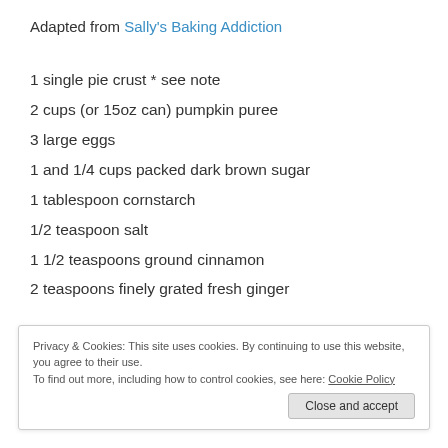Adapted from Sally's Baking Addiction
1 single pie crust * see note
2 cups (or 15oz can) pumpkin puree
3 large eggs
1 and 1/4 cups packed dark brown sugar
1 tablespoon cornstarch
1/2 teaspoon salt
1 1/2 teaspoons ground cinnamon
2 teaspoons finely grated fresh ginger
Privacy & Cookies: This site uses cookies. By continuing to use this website, you agree to their use. To find out more, including how to control cookies, see here: Cookie Policy